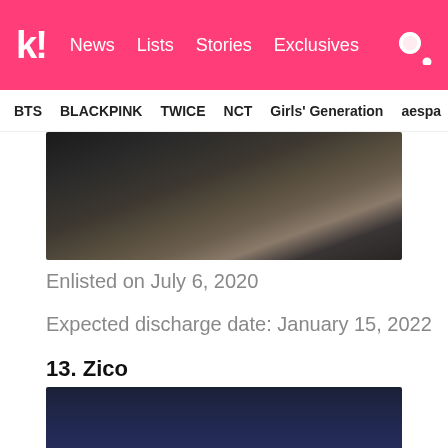k! News Lists Stories Exclusives
BTS  BLACKPINK  TWICE  NCT  Girls' Generation  aespa
[Figure (photo): Partial photo showing dark vehicle undercarriage or mechanical parts with foliage in background]
Enlisted on July 6, 2020
Expected discharge date: January 15, 2022
13. Zico
[Figure (photo): Photo of Zico with dark blue/navy blurred background, person visible from shoulders up with light colored hair]